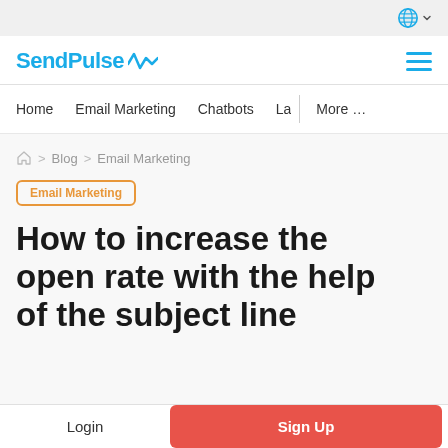SendPulse navigation header with logo and hamburger menu
Home   Email Marketing   Chatbots   La...   More ...
Home > Blog > Email Marketing
Email Marketing
How to increase the open rate with the help of the subject line
Login   Sign Up